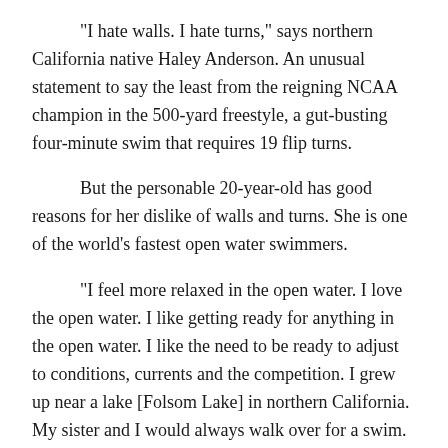"I hate walls. I hate turns," says northern California native Haley Anderson. An unusual statement to say the least from the reigning NCAA champion in the 500-yard freestyle, a gut-busting four-minute swim that requires 19 flip turns.
But the personable 20-year-old has good reasons for her dislike of walls and turns. She is one of the world's fastest open water swimmers.
"I feel more relaxed in the open water. I love the open water. I like getting ready for anything in the open water. I like the need to be ready to adjust to conditions, currents and the competition. I grew up near a lake [Folsom Lake] in northern California. My sister and I would always walk over for a swim. You can just swim and swim without worrying about walls or turns."